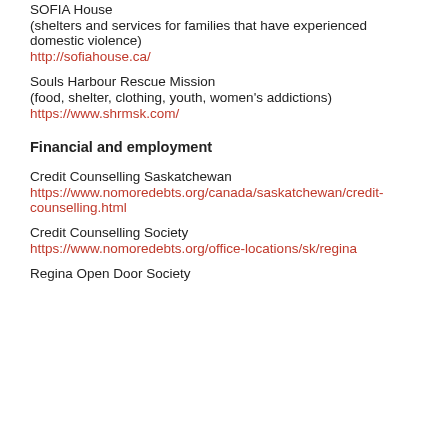SOFIA House
(shelters and services for families that have experienced domestic violence)
http://sofiahouse.ca/
Souls Harbour Rescue Mission
(food, shelter, clothing, youth, women's addictions)
https://www.shrmsk.com/
Financial and employment
Credit Counselling Saskatchewan
https://www.nomoredebts.org/canada/saskatchewan/credit-counselling.html
Credit Counselling Society
https://www.nomoredebts.org/office-locations/sk/regina
Regina Open Door Society